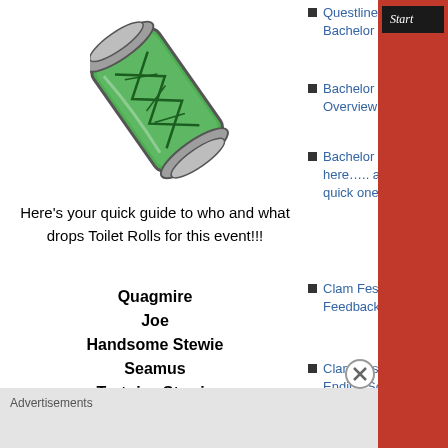[Figure (illustration): Cartoon DNA vial / green glowing tube with DNA helix inside, tilted diagonally]
Here’s your quick guide to who and what drops Toilet Rolls for this event!!!
Quagmire
Joe
Handsome Stewie
Seamus
Tortoise Stewie
Questline: Bachelor Bad
Bachelor Event Overview!!!
Bachelor Event is here….. and it’s a quick one….
Clam Fest – Event Feedback Page
Clam Fest – Event Ending Soon
PLAY TAPPED OUT? CHECK OUT TSTO
Advertisements